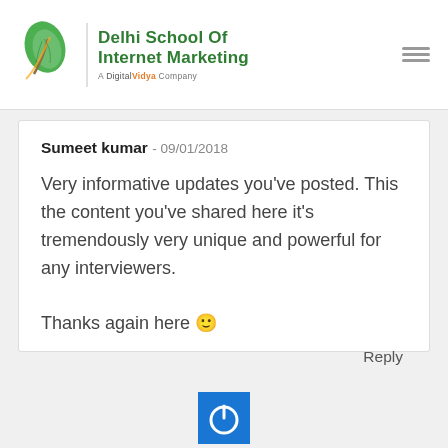Delhi School Of Internet Marketing - A DigitalVidya Company
Sumeet kumar - 09/01/2018
Very informative updates you've posted. This the content you've shared here it's tremendously very unique and powerful for any interviewers.

Thanks again here 🙂
Reply
[Figure (logo): Power button icon in blue square]